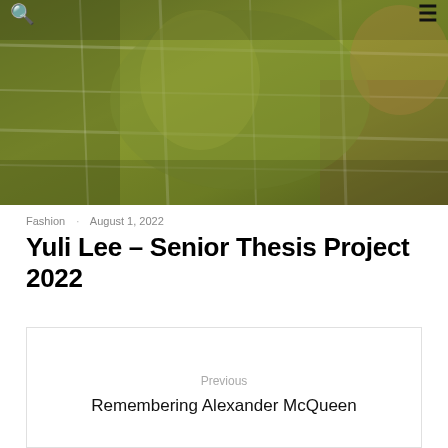🔍 ≡
[Figure (photo): Close-up photograph of green plaid/tartan fabric with a blurred figure, showing shades of olive green and brown tones]
Fashion · August 1, 2022
Yuli Lee – Senior Thesis Project 2022
Previous
Remembering Alexander McQueen
Next
SPOTTED: The new issue of ONE EIGHTY